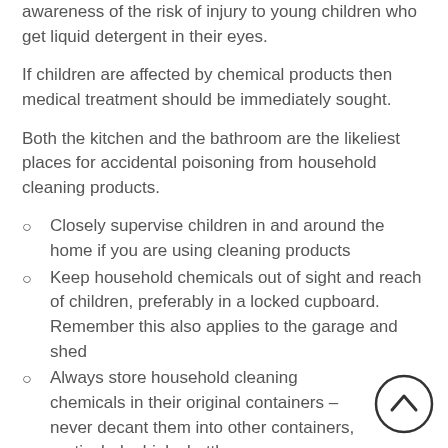awareness of the risk of injury to young children who get liquid detergent in their eyes.
If children are affected by chemical products then medical treatment should be immediately sought.
Both the kitchen and the bathroom are the likeliest places for accidental poisoning from household cleaning products.
Closely supervise children in and around the home if you are using cleaning products
Keep household chemicals out of sight and reach of children, preferably in a locked cupboard. Remember this also applies to the garage and shed
Always store household cleaning chemicals in their original containers – never decant them into other containers, particularly drinks bottles
Replace lids and put all products away